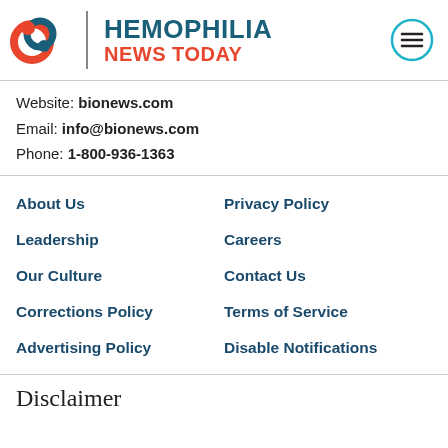[Figure (logo): Hemophilia News Today logo with red/blue swirl icon, vertical divider, site name in teal and red, and teal hamburger menu icon]
Website: bionews.com
Email: info@bionews.com
Phone: 1-800-936-1363
About Us
Privacy Policy
Leadership
Careers
Our Culture
Contact Us
Corrections Policy
Terms of Service
Advertising Policy
Disable Notifications
Disclaimer